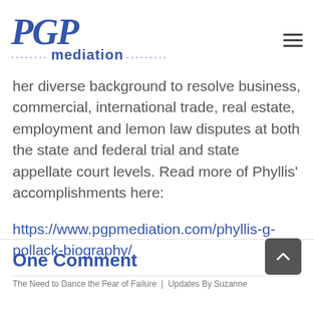PGP mediation
her diverse background to resolve business, commercial, international trade, real estate, employment and lemon law disputes at both the state and federal trial and state appellate court levels. Read more of Phyllis' accomplishments here: https://www.pgpmediation.com/phyllis-g-pollack-biography/
One Comment
The Need to Dance the Fear of Failure | Updates By Suzanne